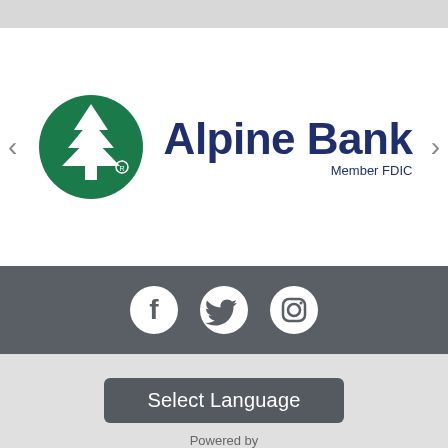[Figure (logo): Alpine Bank logo with green pine tree in circle and dark blue 'Alpine Bank' text with 'Member FDIC' tagline]
[Figure (infographic): Social media icons: Facebook, Twitter, Instagram on dark gray bar]
Select Language
Powered by